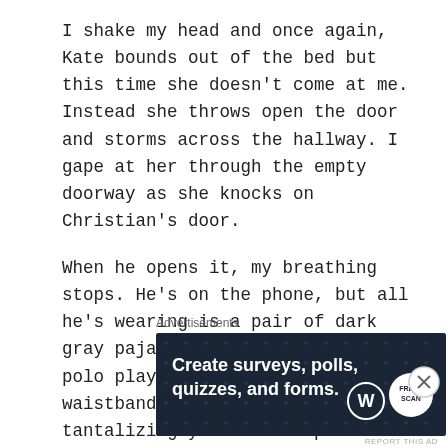I shake my head and once again, Kate bounds out of the bed but this time she doesn't come at me. Instead she throws open the door and storms across the hallway. I gape at her through the empty doorway as she knocks on Christian's door.
When he opens it, my breathing stops. He's on the phone, but all he's wearing is a pair of dark gray pajama pants with a white polo player logo beneath the waistband and they are hanging tantalizingly off his hips. He's not wearing a shirt and he looks... oh he looks. Damn, he must work out a lot. He's the Statue of David, muscles carved,
Advertisements
[Figure (infographic): Dark blue advertisement banner with dot pattern background. Text reads 'Create surveys, polls, quizzes, and forms.' with WordPress logo and a circular logo badge on the right.]